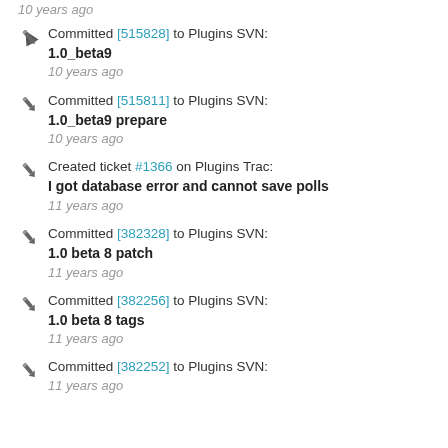10 years ago
Committed [515828] to Plugins SVN:
1.0_beta9
10 years ago
Committed [515811] to Plugins SVN:
1.0_beta9 prepare
10 years ago
Created ticket #1366 on Plugins Trac:
I got database error and cannot save polls
11 years ago
Committed [382328] to Plugins SVN:
1.0 beta 8 patch
11 years ago
Committed [382256] to Plugins SVN:
1.0 beta 8 tags
11 years ago
Committed [382252] to Plugins SVN:
11 years ago